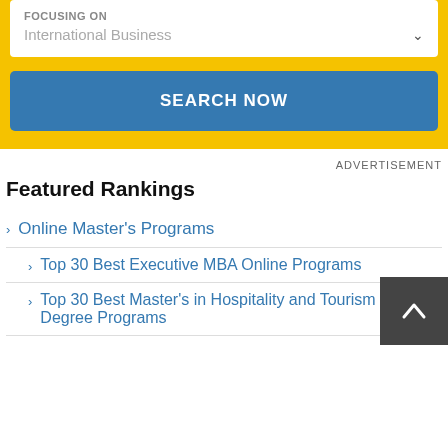FOCUSING ON
International Business
SEARCH NOW
ADVERTISEMENT
Featured Rankings
Online Master's Programs
Top 30 Best Executive MBA Online Programs
Top 30 Best Master's in Hospitality and Tourism Online Degree Programs